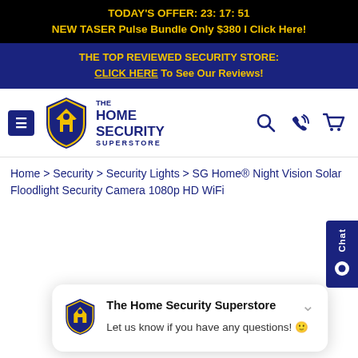TODAY'S OFFER: 23: 17: 51
NEW TASER Pulse Bundle Only $380 I Click Here!
THE TOP REVIEWED SECURITY STORE:
CLICK HERE To See Our Reviews!
[Figure (logo): The Home Security Superstore logo with navigation bar including hamburger menu, shield logo, search icon, phone icon, and cart icon]
Home > Security > Security Lights > SG Home® Night Vision Solar Floodlight Security Camera 1080p HD WiFi
[Figure (screenshot): Chat tab on the right side of the page with 'Chat' text and speech bubble icon in dark blue]
The Home Security Superstore
Let us know if you have any questions! 😊